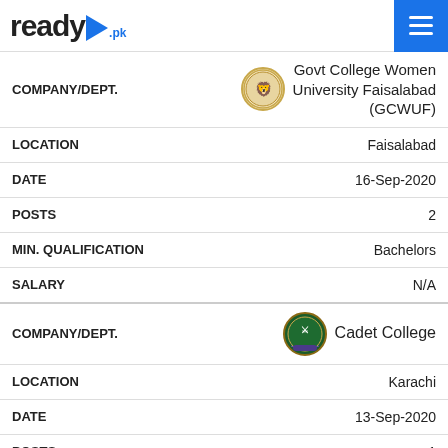ready.pk
| Field | Value |
| --- | --- |
| COMPANY/DEPT. | Govt College Women University Faisalabad (GCWUF) |
| LOCATION | Faisalabad |
| DATE | 16-Sep-2020 |
| POSTS | 2 |
| MIN. QUALIFICATION | Bachelors |
| SALARY | N/A |
| Field | Value |
| --- | --- |
| COMPANY/DEPT. | Cadet College |
| LOCATION | Karachi |
| DATE | 13-Sep-2020 |
| POSTS | 1 |
| MIN. QUALIFICATION | Bachelors |